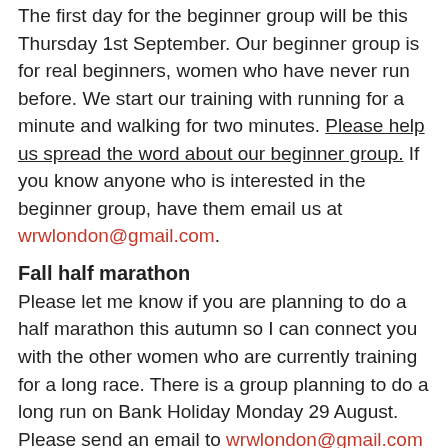The first day for the beginner group will be this Thursday 1st September. Our beginner group is for real beginners, women who have never run before. We start our training with running for a minute and walking for two minutes. Please help us spread the word about our beginner group. If you know anyone who is interested in the beginner group, have them email us at wrwlondon@gmail.com.
Fall half marathon
Please let me know if you are planning to do a half marathon this autumn so I can connect you with the other women who are currently training for a long race. There is a group planning to do a long run on Bank Holiday Monday 29 August. Please send an email to wrwlondon@gmail.com if you want to join them.
Construction on the Hill
Each Friday we tend to run up Fitzjohn's Avenue to Hampstead Heath. At the moment, the road is under major